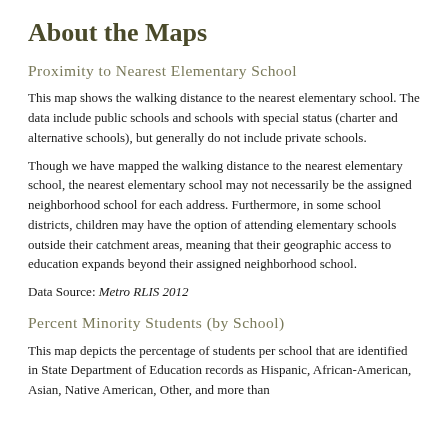About the Maps
Proximity to Nearest Elementary School
This map shows the walking distance to the nearest elementary school. The data include public schools and schools with special status (charter and alternative schools), but generally do not include private schools.
Though we have mapped the walking distance to the nearest elementary school, the nearest elementary school may not necessarily be the assigned neighborhood school for each address. Furthermore, in some school districts, children may have the option of attending elementary schools outside their catchment areas, meaning that their geographic access to education expands beyond their assigned neighborhood school.
Data Source: Metro RLIS 2012
Percent Minority Students (by School)
This map depicts the percentage of students per school that are identified in State Department of Education records as Hispanic, African-American, Asian, Native American, Other, and more than